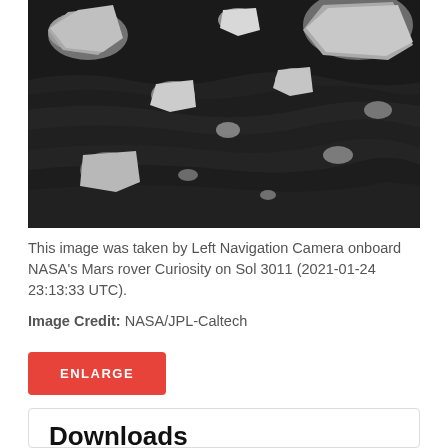[Figure (photo): Black and white photograph taken by the Left Navigation Camera onboard NASA's Mars rover Curiosity, showing Martian rocky terrain with layered rock formations and lighter colored rock fragments scattered on a dark, rippled surface.]
This image was taken by Left Navigation Camera onboard NASA's Mars rover Curiosity on Sol 3011 (2021-01-24 23:13:33 UTC).
Image Credit: NASA/JPL-Caltech
Downloads